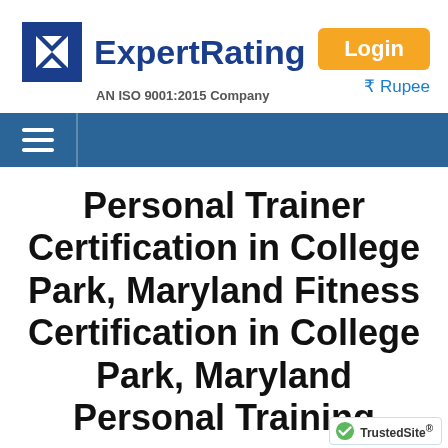[Figure (logo): ExpertRating logo with blue X/E icon and bold blue text, AN ISO 9001:2015 Company subtitle]
Login
₹ Rupee
Personal Trainer Certification in College Park, Maryland Fitness Certification in College Park, Maryland Personal Training